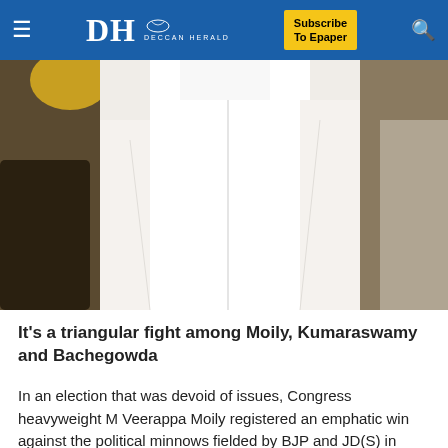DH DECCAN HERALD | Subscribe To Epaper
[Figure (photo): A person wearing white clothing, photograph cropped to show torso/upper body area]
It’s a triangular fight among Moily, Kumaraswamy and Bachegowda
In an election that was devoid of issues, Congress heavyweight M Veerappa Moily registered an emphatic win against the political minnows fielded by BJP and JD(S) in 2009.